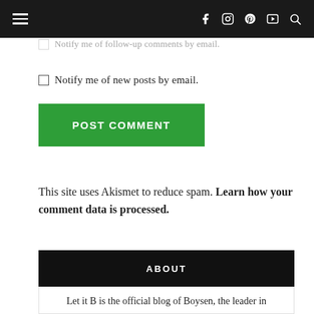≡  [navigation bar with hamburger menu and social icons: f, Instagram, Pinterest, YouTube, Search]
☐ Notify me of follow-up comments by email.
☐ Notify me of new posts by email.
POST COMMENT
This site uses Akismet to reduce spam. Learn how your comment data is processed.
ABOUT
Let it B is the official blog of Boysen, the leader in